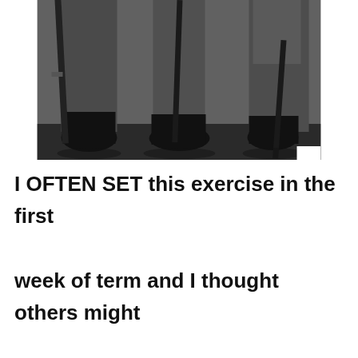[Figure (photo): Black and white historical photograph showing the lower bodies and legs of soldiers in uniform boots, standing with rifles resting against them.]
I OFTEN SET this exercise in the first week of term and I thought others might like to try it. Varying the length of a sentence is very simple device that can add flavour and